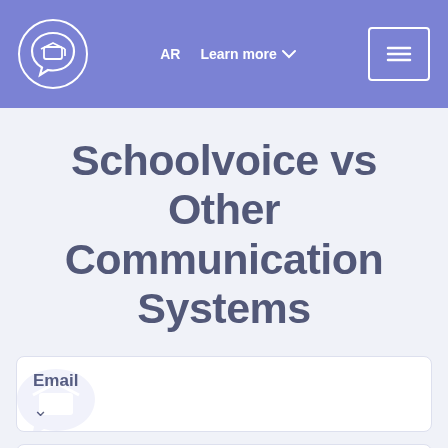AR  Learn more  ☰
Schoolvoice vs Other Communication Systems
Email
SMS (Short Message Service)